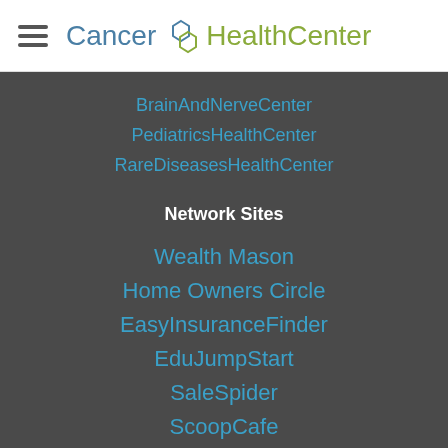Cancer HealthCenter
BrainAndNerveCenter
PediatricsHealthCenter
RareDiseasesHealthCenter
Network Sites
Wealth Mason
Home Owners Circle
EasyInsuranceFinder
EduJumpStart
SaleSpider
ScoopCafe
SaleSpiderMedia